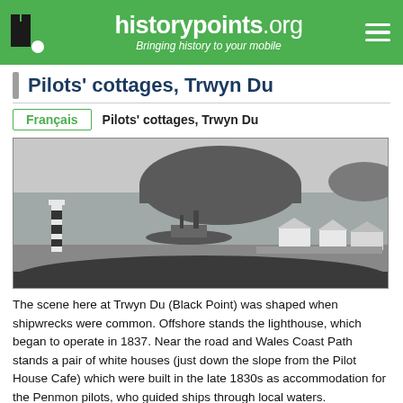historypoints.org — Bringing history to your mobile
Pilots' cottages, Trwyn Du
Français   Pilots' cottages, Trwyn Du
[Figure (photo): Black and white historical photograph showing Trwyn Du (Black Point) with a striped lighthouse offshore on the left, a ship in the water, a headland/hill in the background, and a row of white cottages on the right shore.]
The scene here at Trwyn Du (Black Point) was shaped when shipwrecks were common. Offshore stands the lighthouse, which began to operate in 1837. Near the road and Wales Coast Path stands a pair of white houses (just down the slope from the Pilot House Cafe) which were built in the late 1830s as accommodation for the Penmon pilots, who guided ships through local waters.
The lighthouse and cottages were built after the wreck of the Rothsay